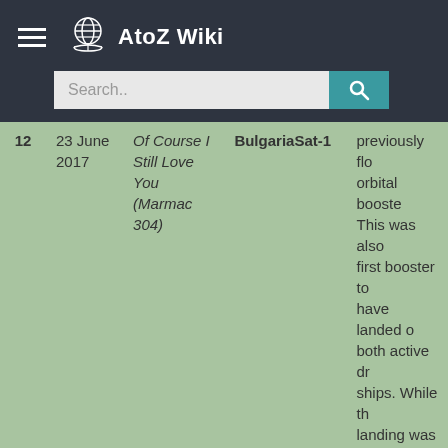AtoZ Wiki
| # | Date | Ship | Payload | Notes |
| --- | --- | --- | --- | --- |
| 12 | 23 June 2017 | Of Course I Still Love You (Marmac 304) | BulgariaSat-1 | previously flo... orbital booste... This was also... first booster to... have landed o... both active dr... ships. While th... landing was considered a success, the booster was "slammed sideways" and suffered a 'ha... landing' which resulted in 'm... |